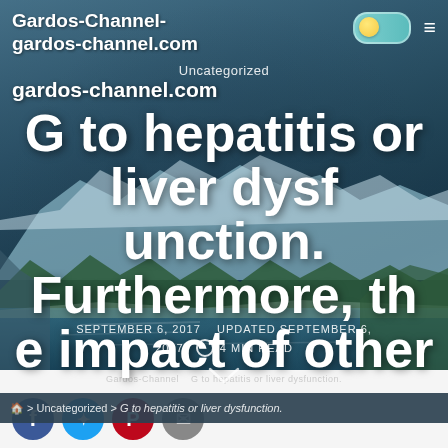Gardos-Channel- gardos-channel.com
Uncategorized
G to hepatitis or liver dysfunction. Furthermore, the impact of other
SEPTEMBER 6, 2017   UPDATED SEPTEMBER 6, 2017   4 MIN READ
> Uncategorized > G to hepatitis or liver dysfunction.